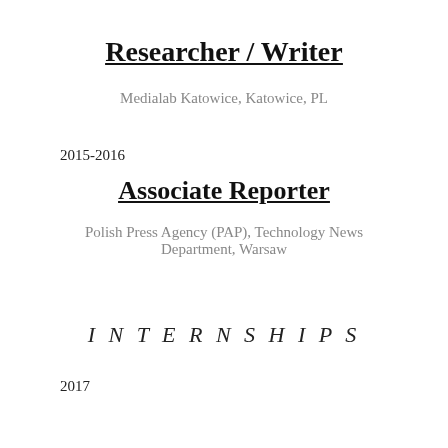Researcher / Writer
Medialab Katowice, Katowice, PL
2015-2016
Associate Reporter
Polish Press Agency (PAP), Technology News Department, Warsaw
INTERNSHIPS
2017